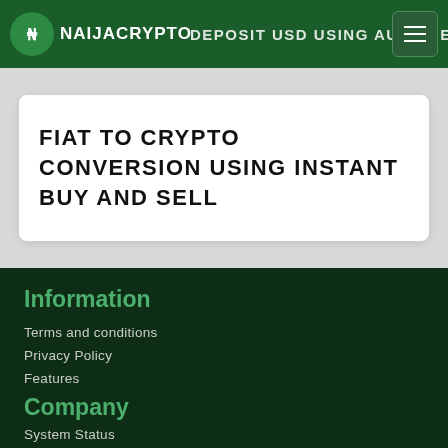NAIJACRYPTO · DEPOSIT USD USING AUTO DEP
FIAT TO CRYPTO CONVERSION USING INSTANT BUY AND SELL
Information
Terms and conditions
Privacy Policy
Features
FAQ
About us
Company
System Status